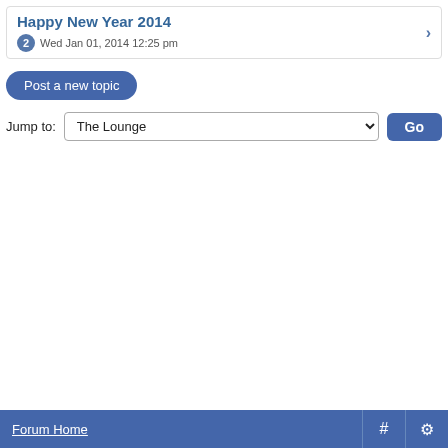Happy New Year 2014 — 2 replies — Wed Jan 01, 2014 12:25 pm
Post a new topic
Jump to: The Lounge  Go
Forum Home  #  ⚙